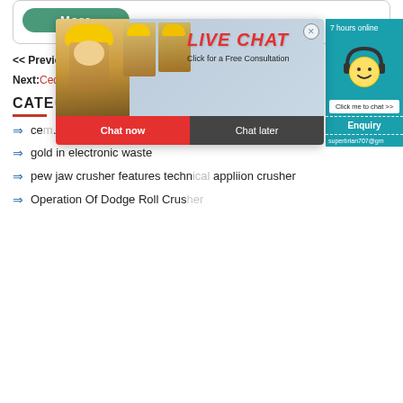More
<< Previous: Used Concrete Mixing Plant And Machinery >>
Next: Cedar Rapids El Jay Rock Cone Crusher Mantle Picture
CATEGORIES
cement ... fine particle gold
gold in electronic waste
pew jaw crusher features techn... appliion crusher
Operation Of Dodge Roll Crus...
[Figure (screenshot): Live chat popup overlay with construction workers photo, LIVE CHAT text in red, Chat now and Chat later buttons, and a right-side panel with smiley face headset icon, Enquiry section, and email address superbrian707@gm...]